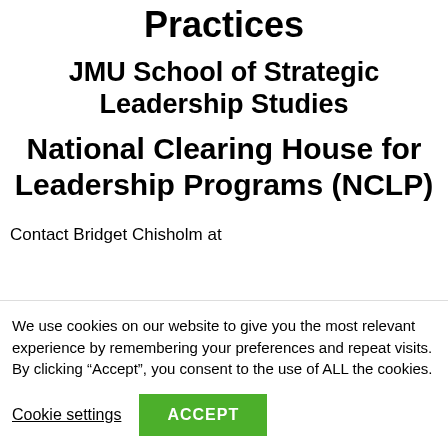Practices
JMU School of Strategic Leadership Studies
National Clearing House for Leadership Programs (NCLP)
Contact Bridget Chisholm at
We use cookies on our website to give you the most relevant experience by remembering your preferences and repeat visits. By clicking “Accept”, you consent to the use of ALL the cookies.
Cookie settings
ACCEPT